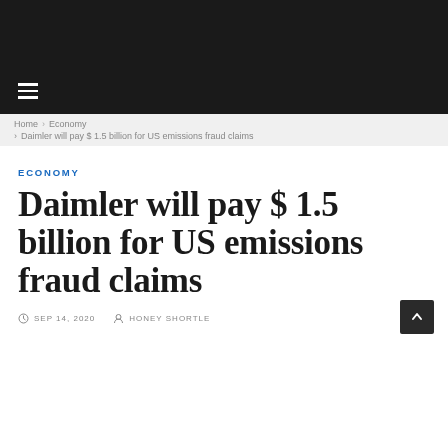≡ (hamburger menu)
Home › Economy › Daimler will pay $ 1.5 billion for US emissions fraud claims
ECONOMY
Daimler will pay $ 1.5 billion for US emissions fraud claims
SEP 14, 2020   HONEY SHORTLE